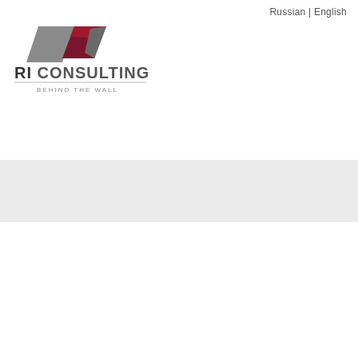[Figure (logo): RI Consulting logo with geometric folded shape in dark red and gray, text 'RI CONSULTING' and tagline 'BEHIND THE WALL']
Russian | English
[Figure (illustration): Gray horizontal band background section]
[Figure (illustration): Gold/bronze diagonal parallelogram bar with small dark circular emblem to the right]